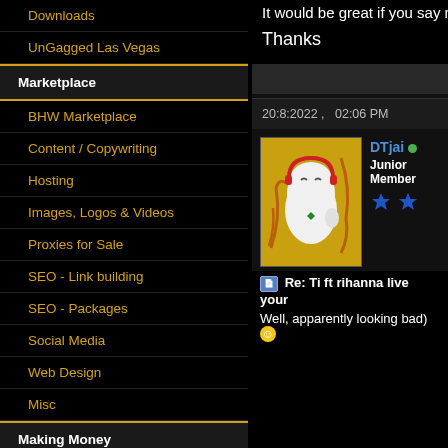Downloads
UnGagged Las Vegas
Marketplace
BHW Marketplace
Content / Copywriting
Hosting
Images, Logos & Videos
Proxies for Sale
SEO - Link building
SEO - Packages
Social Media
Web Design
Misc
Making Money
Affiliate Programs
Hire a Freelancer
Making Money
It would be great if you say m...
Thanks
20:8:2022 ,   02:06 PM
DTjai
Junior Member
Re: Ti ft rihanna live your...
Well, apparently looking bad) 😊